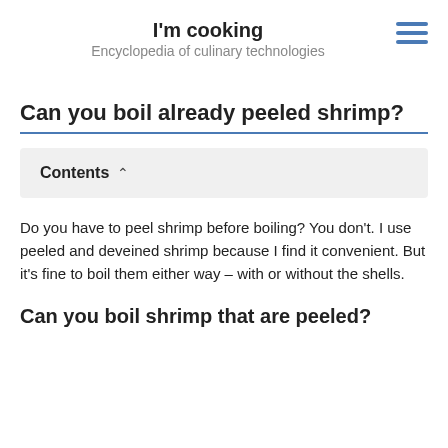I'm cooking
Encyclopedia of culinary technologies
Can you boil already peeled shrimp?
Contents
Do you have to peel shrimp before boiling? You don't. I use peeled and deveined shrimp because I find it convenient. But it's fine to boil them either way – with or without the shells.
Can you boil shrimp that are peeled?